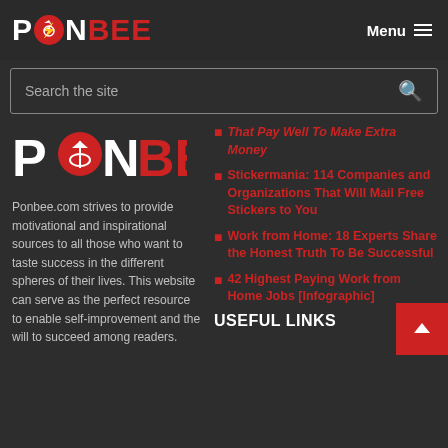PONBEE — Menu
Search the site
[Figure (logo): PONBEE logo large version with red circle icon]
Ponbee.com strives to provide motivational and inspirational sources to all those who want to taste success in the different spheres of their lives. This website can serve as the perfect resource to enable self-improvement and the will to succeed among readers.
That Pay Well To Make Extra Money
Stickermania: 114 Companies and Organizations That Will Mail Free Stickers to You
Work from Home: 18 Experts Share the Honest Truth To Be Successful
42 Highest Paying Work from Home Jobs [Infographic]
USEFUL LINKS